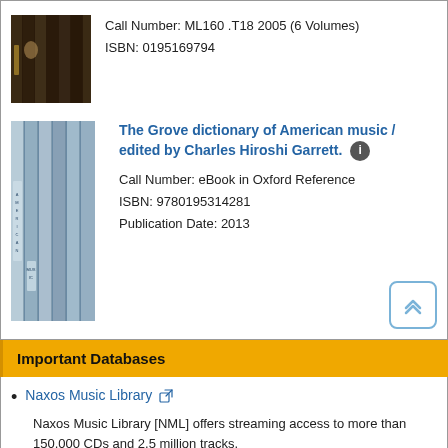Call Number: ML160 .T18 2005 (6 Volumes)
ISBN: 0195169794
The Grove dictionary of American music / edited by Charles Hiroshi Garrett.
Call Number: eBook in Oxford Reference
ISBN: 9780195314281
Publication Date: 2013
Important Databases
Naxos Music Library
Naxos Music Library [NML] offers streaming access to more than 150,000 CDs and 2.5 million tracks.
Oxford Music Online
The Oxford Music Online gateway provides access to multiple music resources including  the New Grove Dictionary of Music and Musicians, Oxford Dictionary of Music and The Oxford Companion to Music